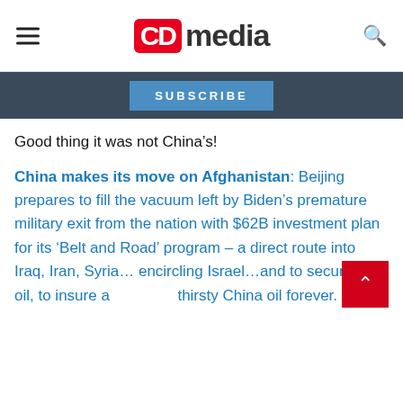CD media
SUBSCRIBE
Good thing it was not China's!
China makes its move on Afghanistan: Beijing prepares to fill the vacuum left by Biden's premature military exit from the nation with $62B investment plan for its 'Belt and Road' program – a direct route into Iraq, Iran, Syria…encircling Israel…and to secure Arab oil, to insure a thirsty China oil forever.